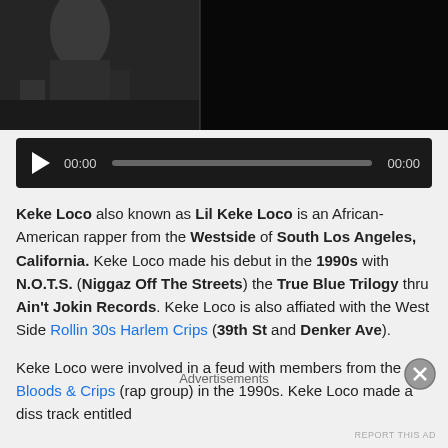[Figure (screenshot): Black and white video thumbnail showing partial figures, dark background]
[Figure (screenshot): Audio player with play button, 00:00 timestamp, progress bar, and 00:00 end time on dark background]
Keke Loco also known as Lil Keke Loco is an African-American rapper from the Westside of South Los Angeles, California. Keke Loco made his debut in the 1990s with N.O.T.S. (Niggaz Off The Streets) the True Blue Trilogy thru Ain't Jokin Records. Keke Loco is also affiated with the West Side Rollin 30s Harlem Crips (39th St and Denker Ave).
Keke Loco were involved in a feud with members from the Bloods & Crips (rap group) in the 1990s. Keke Loco made a diss track entitled
Advertisements
REPORT THIS AD